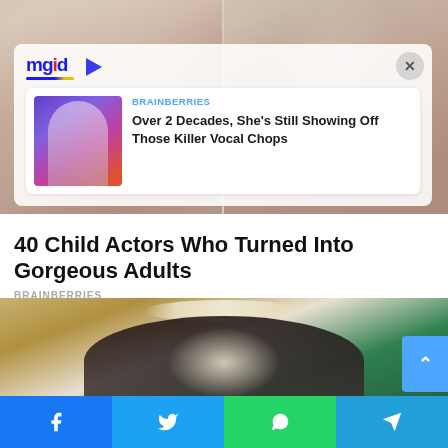[Figure (photo): Background photo showing two faces/people, blurred, split by a vertical line]
[Figure (infographic): MGID ad overlay with logo, close button, and sponsored content card showing a performer in colorful outfit with text about vocal chops]
BRAINBERRIES
Over 2 Decades, She's Still Showing Off Those Killer Vocal Chops
40 Child Actors Who Turned Into Gorgeous Adults
BRAINBERRIES
[Figure (photo): Photo of a young woman/girl with a floral tiara crown and dark hair against a green background]
[Figure (infographic): Social share bar with Facebook, Twitter, WhatsApp, and Telegram buttons]